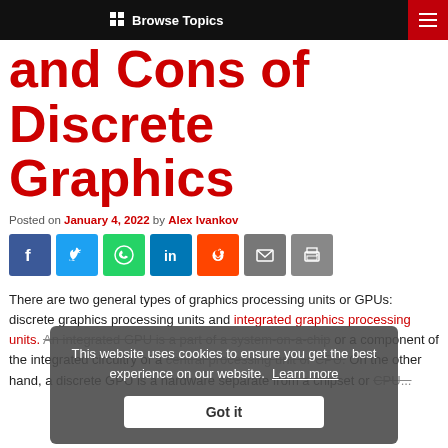Browse Topics
and Cons of Discrete Graphics
Posted on January 4, 2022 by Alex Ivankov
[Figure (infographic): Social share buttons: Facebook, Twitter, WhatsApp, LinkedIn, Reddit, Email, Print]
There are two general types of graphics processing units or GPUs: discrete graphics processing units and integrated graphics processing units. An integrated GPU is a part of a system-on-a-chip or a component of the integrated circuitry of a central processing unit or CPU. On the other hand, a discrete GPU is a hardware separate from a chipset or CPU...
This website uses cookies to ensure you get the best experience on our website. Learn more
Got it